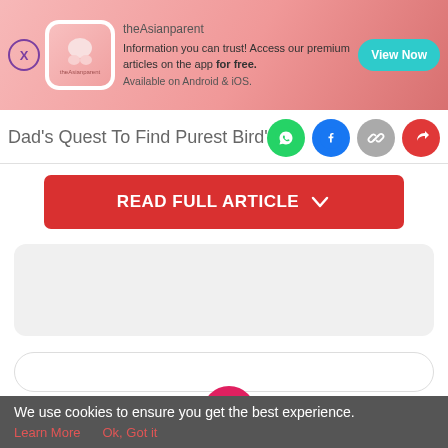[Figure (screenshot): theAsianparent app ad banner with pink gradient background, app icon, text 'Information you can trust! Access our premium articles on the app for free. Available on Android & iOS.' and 'View Now' teal button]
Dad's Quest To Find Purest Bird's Ne
[Figure (screenshot): Social share icons: WhatsApp (green), Facebook (blue), link (grey), share (red)]
[Figure (screenshot): Red 'READ FULL ARTICLE' button with chevron down]
[Figure (screenshot): Grey rounded content placeholder box]
[Figure (screenshot): Rounded border input/content box]
[Figure (screenshot): Bottom navigation bar with Tools, Articles, home (baby feet pink circle), Feed, Poll icons]
We use cookies to ensure you get the best experience.
Learn More   Ok, Got it